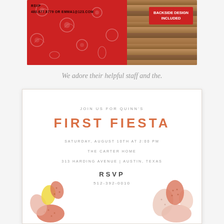[Figure (photo): Bandana/fiesta party invitation product image with red paisley bandana on left, wood grain on right, and 'Backside Design Included' badge in red on right side. RSVP contact text visible at top.]
We adore their helpful staff and the.
[Figure (illustration): White party invitation card for Quinn's First Fiesta birthday party with cactus illustrations at bottom. Text reads: JOIN US FOR QUINN'S / FIRST FIESTA / SATURDAY, AUGUST 10TH AT 2:00 PM / THE CARTER HOME / 313 HARDING AVENUE | AUSTIN, TEXAS / RSVP / 512-392-0010]